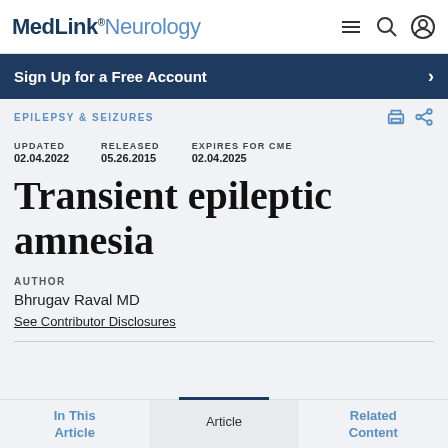MedLink® Neurology
Sign Up for a Free Account
EPILEPSY & SEIZURES
UPDATED 02.04.2022   RELEASED 05.26.2015   EXPIRES FOR CME 02.04.2025
Transient epileptic amnesia
AUTHOR
Bhrugav Raval MD
See Contributor Disclosures
In This Article   Article   Related Content